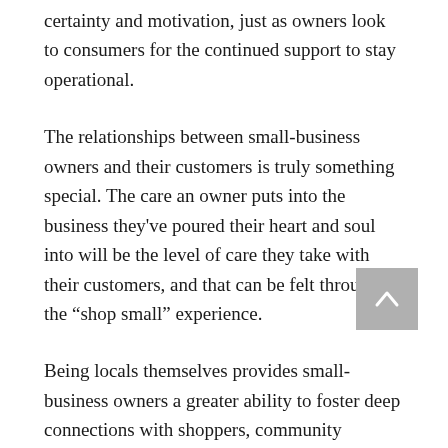certainty and motivation, just as owners look to consumers for the continued support to stay operational.
The relationships between small-business owners and their customers is truly something special. The care an owner puts into the business they've poured their heart and soul into will be the level of care they take with their customers, and that can be felt throughout the “shop small” experience.
Being locals themselves provides small-business owners a greater ability to foster deep connections with shoppers, community members and fellow